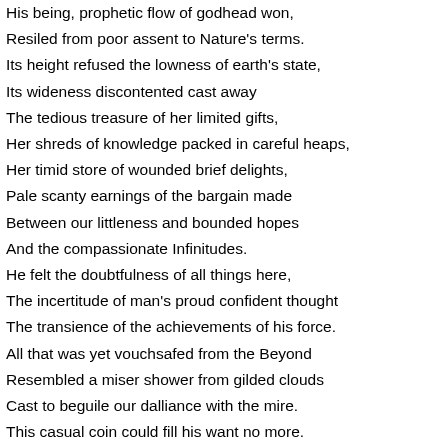His being, prophetic flow of godhead won,
Resiled from poor assent to Nature's terms.
Its height refused the lowness of earth's state,
Its wideness discontented cast away
The tedious treasure of her limited gifts,
Her shreds of knowledge packed in careful heaps,
Her timid store of wounded brief delights,
Pale scanty earnings of the bargain made
Between our littleness and bounded hopes
And the compassionate Infinitudes.
He felt the doubtfulness of all things here,
The incertitude of man's proud confident thought
The transience of the achievements of his force.
All that was yet vouchsafed from the Beyond
Resembled a miser shower from gilded clouds
Cast to beguile our dalliance with the mire.
This casual coin could fill his want no more.
A bribe of distant light was not enough.